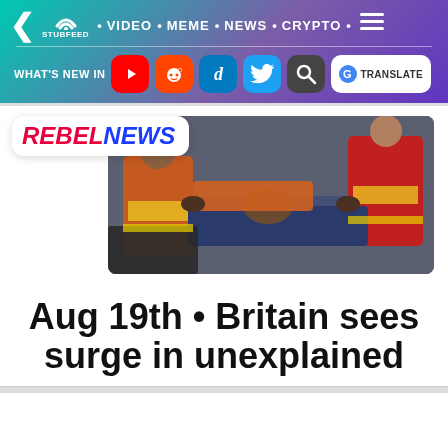StubFeed · VIDEO · MEME · NEWS · CRYPTO
WHAT'S NEW IN [YouTube] [Reddit] [Digg] [Twitter] [Search] [G TRANSLATE]
[Figure (photo): Paramedics in red uniforms loading a patient on a stretcher into an ambulance]
Aug 19th • Britain sees surge in unexplained